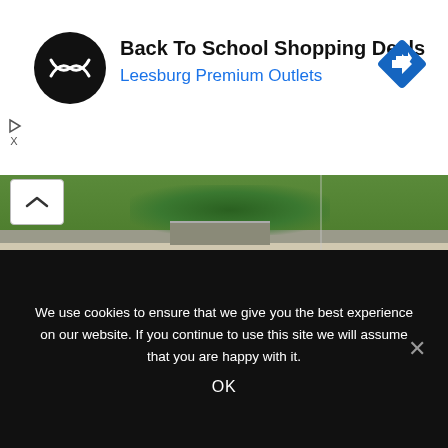[Figure (screenshot): Advertisement banner: Back To School Shopping Deals - Leesburg Premium Outlets, with circular logo and blue navigation icon]
[Figure (photo): Outdoor photo showing a landscape with green hedges/plants, concrete pavement, and dappled shadow patterns on ground]
Respecting the geography, the house is not implanted as an abrupt block in the surroundings, but it stands out for its simply fineness, sitting softly.
We use cookies to ensure that we give you the best experience on our website. If you continue to use this site we will assume that you are happy with it.
OK